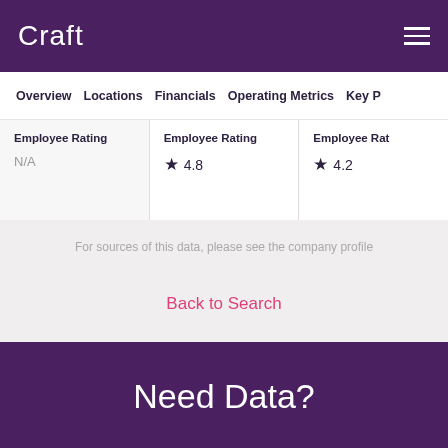Craft
Overview | Locations | Financials | Operating Metrics | Key P
| Employee Rating | Employee Rating | Employee Rat |
| --- | --- | --- |
| N/A | ★ 4.8 | ★ 4.2 |
For sources of this data, please see the company profile
Back to Search
Need Data?
Overview | Charts